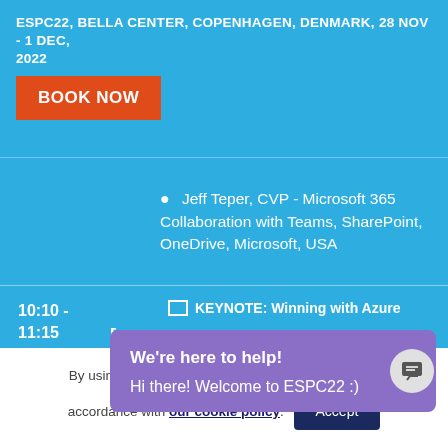ESPC22, BELLA CENTER, COPENHAGEN, DENMARK, 28 NOV - 1 DEC, 2022
BOOK NOW
Jeff Teper, CVP - Microsoft 365 Collaboration with Teams, SharePoint, OneDrive, Microsoft, USA
10:10 - 11:15
KEYNOTE: Winning with Azure
We're here to help!
Hi there! Welcome to ESPC22 :)
By using our website you agree to our use of cookies in accordance with our cookie policy.